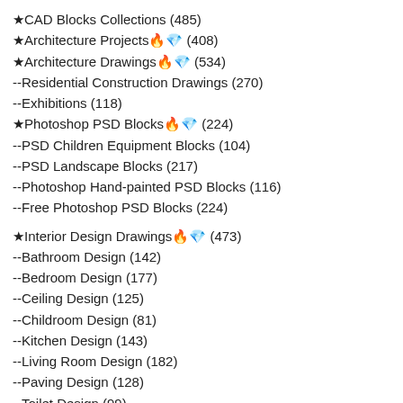★CAD Blocks Collections (485)
★Architecture Projects🔥💎 (408)
★Architecture Drawings🔥💎 (534)
--Residential Construction Drawings (270)
--Exhibitions (118)
★Photoshop PSD Blocks🔥💎 (224)
--PSD Children Equipment Blocks (104)
--PSD Landscape Blocks (217)
--Photoshop Hand-painted PSD Blocks (116)
--Free Photoshop PSD Blocks (224)
★Interior Design Drawings🔥💎 (473)
--Bathroom Design (142)
--Bedroom Design (177)
--Ceiling Design (125)
--Childroom Design (81)
--Kitchen Design (143)
--Living Room Design (182)
--Paving Design (128)
--Toilet Design (99)